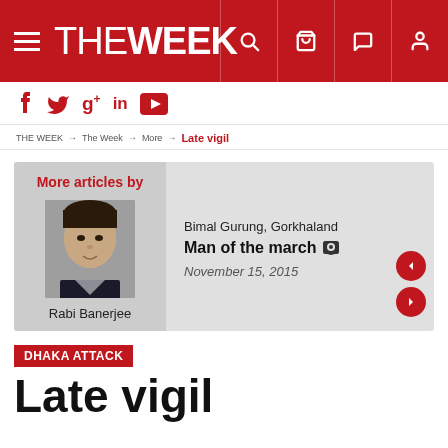THE WEEK
f  g+  in  ▶
THE WEEK → The Week → More → Late vigil
More articles by
Rabi Banerjee
Bimal Gurung, Gorkhaland
Man of the march
November 15, 2015
DHAKA ATTACK
Late vigil